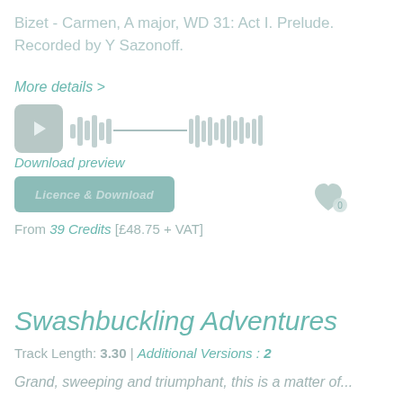Bizet - Carmen, A major, WD 31: Act I. Prelude. Recorded by Y Sazonoff.
More details >
[Figure (other): Audio player with play button and waveform visualization]
Download preview
Licence & Download
From 39 Credits [£48.75 + VAT]
Swashbuckling Adventures
Track Length: 3.30 | Additional Versions : 2
Grand, sweeping and triumphant, this is a matter of...